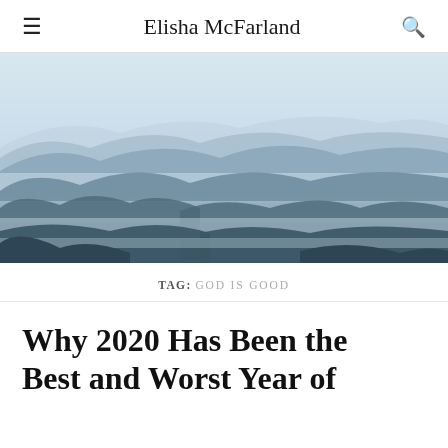Elisha McFarland
[Figure (photo): Misty mountain landscape with multiple layered blue-grey mountain ridges fading into fog and haze, scenic nature photography]
TAG: GOD IS GOOD
Why 2020 Has Been the Best and Worst Year of